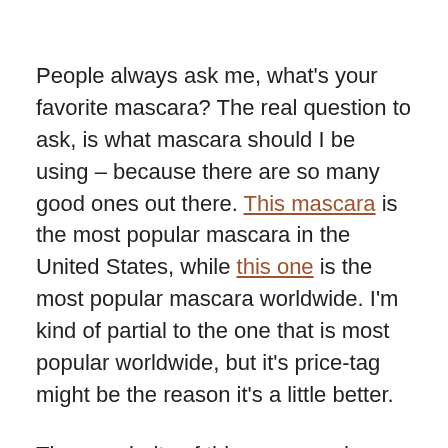People always ask me, what's your favorite mascara? The real question to ask, is what mascara should I be using – because there are so many good ones out there. This mascara is the most popular mascara in the United States, while this one is the most popular mascara worldwide. I'm kind of partial to the one that is most popular worldwide, but it's price-tag might be the reason it's a little better.
The popularity of this mascara does not mean you need to rush out and buy it. Perhaps it's a good starting point as you shop. It's also important to remember what works well for a lot of individuals, may do work for you!
If you are struggling with your mascara, here are a few indicators that you have the wrong one.